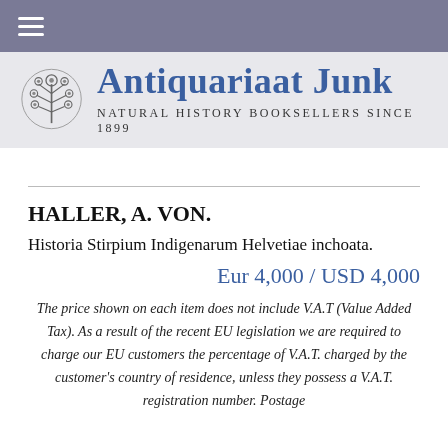Antiquariaat Junk — Natural History Booksellers since 1899
HALLER, A. VON.
Historia Stirpium Indigenarum Helvetiae inchoata.
Eur 4,000 / USD 4,000
The price shown on each item does not include V.A.T (Value Added Tax). As a result of the recent EU legislation we are required to charge our EU customers the percentage of V.A.T. charged by the customer's country of residence, unless they possess a V.A.T. registration number. Postage